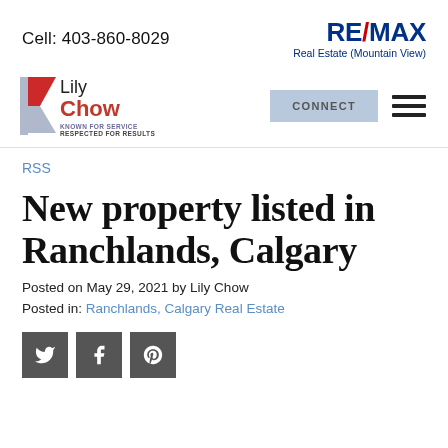Cell: 403-860-8029
[Figure (logo): RE/MAX Real Estate (Mountain View) logo in blue and red]
[Figure (logo): Lily Chow real estate agent logo with tagline: KNOWN FOR SERVICE RESPECTED FOR RESULTS]
CONNECT
RSS
New property listed in Ranchlands, Calgary
Posted on May 29, 2021 by Lily Chow
Posted in: Ranchlands, Calgary Real Estate
[Figure (infographic): Social share buttons: Twitter, Facebook, Pinterest]